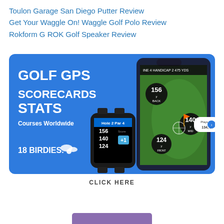Toulon Garage San Diego Putter Review
Get Your Waggle On! Waggle Golf Polo Review
Rokform G ROK Golf Speaker Review
[Figure (infographic): 18 Birdies golf GPS app advertisement showing a smartphone and Apple Watch with golf GPS distances (156y BACK, 140y MID, 124y FRONT), scorecard data for Hole 2 Par 4. Blue background with text: GOLF GPS, SCORECARDS, STATS, Courses Worldwide, 18 BIRDIES.]
CLICK HERE